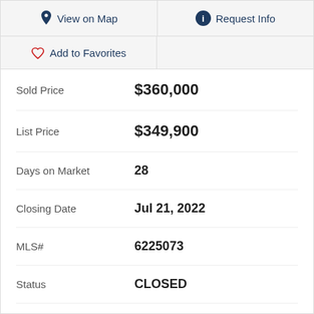View on Map
Request Info
Add to Favorites
| Field | Value |
| --- | --- |
| Sold Price | $360,000 |
| List Price | $349,900 |
| Days on Market | 28 |
| Closing Date | Jul 21, 2022 |
| MLS# | 6225073 |
| Status | CLOSED |
| Type | Single Family Residential |